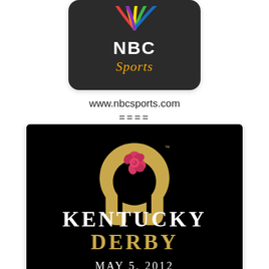[Figure (logo): NBC Sports logo — dark rounded rectangle with NBC peacock icon and 'NBC Sports' text in white and gold]
www.nbcsports.com
====
[Figure (logo): Kentucky Derby logo on black background — gold horseshoe with pink rose, 'KENTUCKY' in white, 'DERBY' in gold, 'MAY 5, 2012' in white]
www.kentuckyderby.com
====
[Figure (screenshot): Kentucky Derby mobile app screenshot showing Derby and Oaks tabs, a horse photo, and 'Daddy Long Legs' entry with owner info]